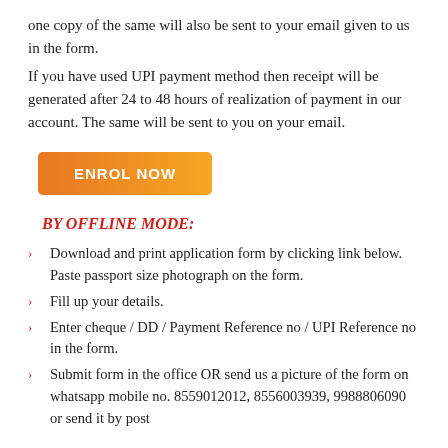one copy of the same will also be sent to your email given to us in the form.
If you have used UPI payment method then receipt will be generated after 24 to 48 hours of realization of payment in our account. The same will be sent to you on your email.
[Figure (other): Orange 'ENROL NOW' button]
BY OFFLINE MODE:
Download and print application form by clicking link below. Paste passport size photograph on the form.
Fill up your details.
Enter cheque / DD / Payment Reference no / UPI Reference no in the form.
Submit form in the office OR send us a picture of the form on whatsapp mobile no. 8559012012, 8556003939, 9988806090 or send it by post